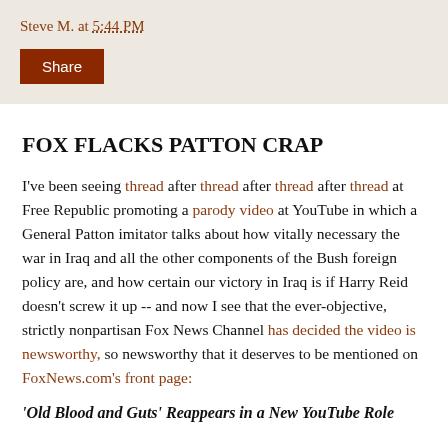Steve M. at 5:44 PM
Share
FOX FLACKS PATTON CRAP
I've been seeing thread after thread after thread after thread at Free Republic promoting a parody video at YouTube in which a General Patton imitator talks about how vitally necessary the war in Iraq and all the other components of the Bush foreign policy are, and how certain our victory in Iraq is if Harry Reid doesn't screw it up -- and now I see that the ever-objective, strictly nonpartisan Fox News Channel has decided the video is newsworthy, so newsworthy that it deserves to be mentioned on FoxNews.com's front page:
'Old Blood and Guts' Reappears in a New YouTube Role